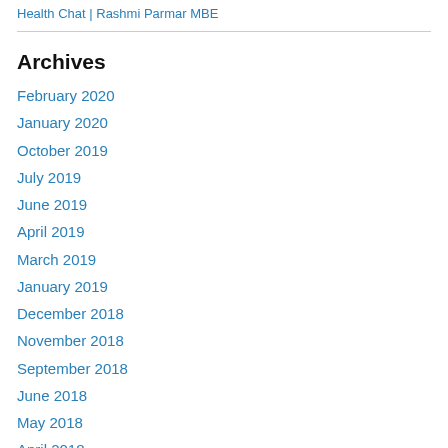Health Chat | Rashmi Parmar MBE
Archives
February 2020
January 2020
October 2019
July 2019
June 2019
April 2019
March 2019
January 2019
December 2018
November 2018
September 2018
June 2018
May 2018
April 2018
March 2018
January 2018